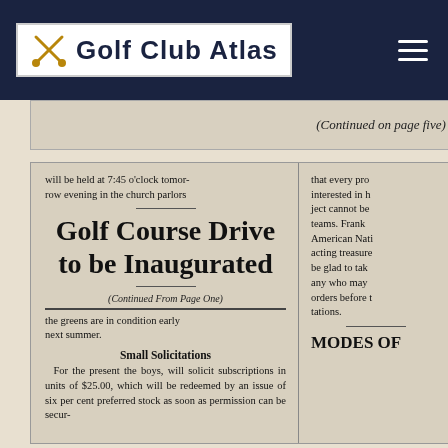Golf Club Atlas
[Figure (screenshot): Cropped top of newspaper clipping showing '(Continued on page five)']
will be held at 7:45 o'clock tomorrow evening in the church parlors
Golf Course Drive to be Inaugurated
(Continued From Page One)
the greens are in condition early next summer.
Small Solicitations
For the present the boys, will solicit subscriptions in units of $25.00, which will be redeemed by an issue of six per cent preferred stock as soon as permission can be secur-
that every pro interested in h ject cannot be teams. Frank American Nati acting treasure be glad to tak any who may orders before t tations.
MODES OF